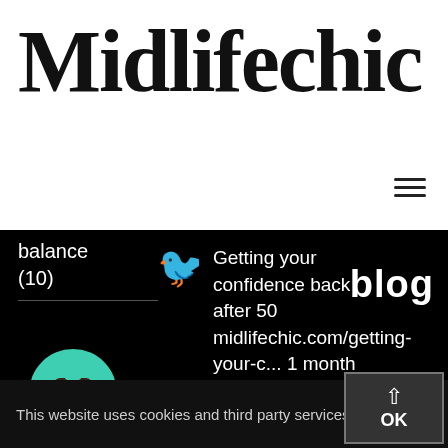Midlifechic
[Figure (other): Hamburger menu icon (three horizontal lines)]
balance (10)
[Figure (logo): Twitter bird icon]
Getting your confidence back after 50 midlifechic.com/getting-your-c... 1 month ago
blog
[Figure (logo): Buy Me a Coffee circular button icon (teal background, coffee cup)]
This website uses cookies and third party services.
[Figure (other): OK button with up arrow, dark background with border]